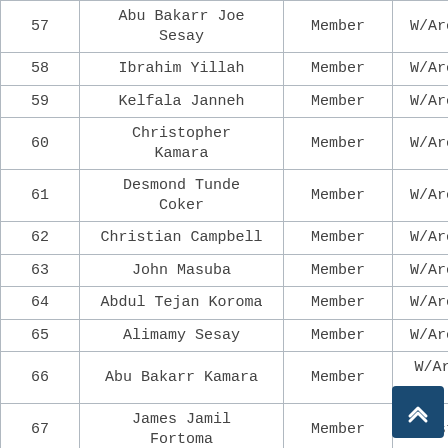| # | Name | Role | Area |
| --- | --- | --- | --- |
| 57 | Abu Bakarr Joe Sesay | Member | W/Area |
| 58 | Ibrahim Yillah | Member | W/Area |
| 59 | Kelfala Janneh | Member | W/Area |
| 60 | Christopher Kamara | Member | W/Area |
| 61 | Desmond Tunde Coker | Member | W/Area |
| 62 | Christian Campbell | Member | W/Area |
| 63 | John Masuba | Member | W/Area |
| 64 | Abdul Tejan Koroma | Member | W/Area |
| 65 | Alimamy Sesay | Member | W/Area |
| 66 | Abu Bakarr Kamara | Member | W/Area |
| 67 | James Jamil Fortoma | Member | East |